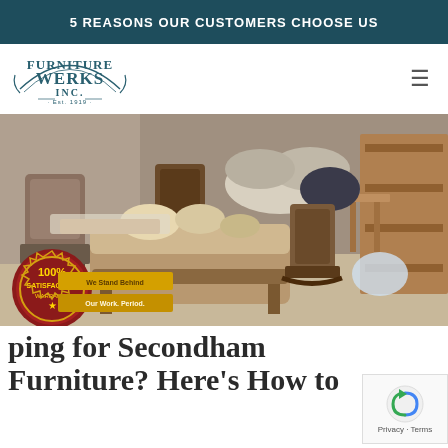5 REASONS OUR CUSTOMERS CHOOSE US
[Figure (logo): Furniture Werks Inc. logo with decorative text, Est. 1919]
[Figure (photo): Warehouse interior filled with secondhand wooden chairs, sofas, and various furniture pieces in disarray. A 100% Satisfaction Warranty badge is overlaid in the bottom-left corner, along with a 'We Stand Behind Our Work. Period.' ribbon badge.]
Shopping for Secondhand Furniture? Here's How to